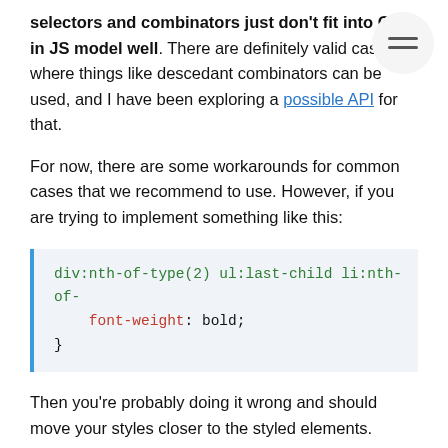selectors and combinators just don't fit into CSS in JS model well. There are definitely valid cases where things like descedant combinators can be used, and I have been exploring a possible API for that.
For now, there are some workarounds for common cases that we recommend to use. However, if you are trying to implement something like this:
div:nth-of-type(2) ul:last-child li:nth-of-
    font-weight: bold;
}
Then you're probably doing it wrong and should move your styles closer to the styled elements.
Child Combinator
CSS syntax: A > B